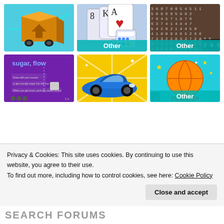[Figure (screenshot): Grid of 6 game thumbnails: box delivery game, card solitaire (Other), number puzzle (Other), sugar flow game, racing car game, basketball game (Other)]
Privacy & Cookies: This site uses cookies. By continuing to use this website, you agree to their use.
To find out more, including how to control cookies, see here: Cookie Policy
Close and accept
SEARCH FORUMS